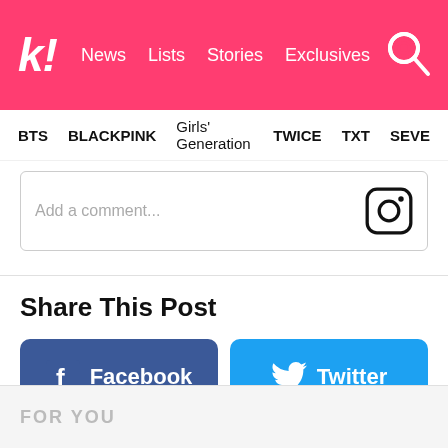k! News  Lists  Stories  Exclusives
BTS  BLACKPINK  Girls' Generation  TWICE  TXT  SEVE
Add a comment...
Share This Post
Facebook
Twitter
FOR YOU